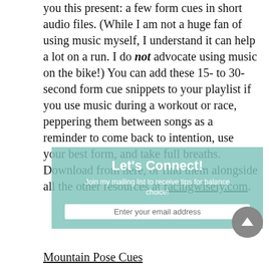you this present: a few form cues in short audio files. (While I am not a huge fan of using music myself, I understand it can help a lot on a run. I do not advocate using music on the bike!) You can add these 15- to 30-second form cue snippets to your playlist if you use music during a workout or race, peppering them between songs as a reminder to come back to intention, use your best form, and take full breaths. Download from here, or find them alongside all the other resources at racingwisely.com.
[Figure (infographic): Semi-transparent teal/mint overlay box with 'Let's Connect!' heading, subtitle text about joining mailing list for balance tips, and an email input field placeholder.]
Mountain Pose Cues